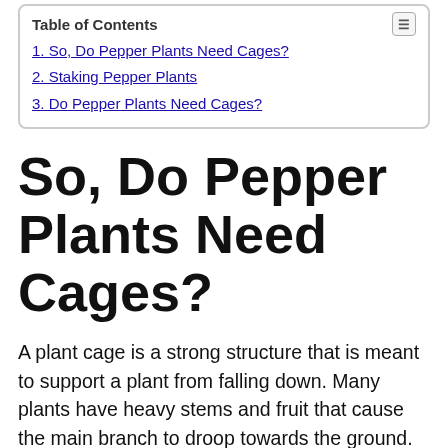1. So, Do Pepper Plants Need Cages?
2. Staking Pepper Plants
3. Do Pepper Plants Need Cages?
So, Do Pepper Plants Need Cages?
A plant cage is a strong structure that is meant to support a plant from falling down. Many plants have heavy stems and fruit that cause the main branch to droop towards the ground. You can use a plant cage or trellis to help prevent this, but...